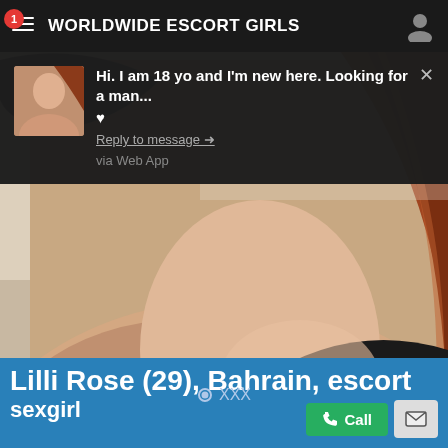WORLDWIDE ESCORT GIRLS
Hi. I am 18 yo and I'm new here. Looking for a man... ♥ Reply to message → via Web App
[Figure (photo): Close-up photo of a young woman with reddish-brown hair, showing her neck and shoulder area against a blurred background]
Lilli Rose (29), Bahrain, escort sexgirl
XXX
Call